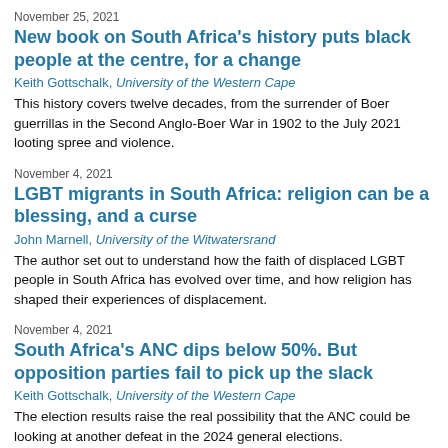November 25, 2021
New book on South Africa's history puts black people at the centre, for a change
Keith Gottschalk, University of the Western Cape
This history covers twelve decades, from the surrender of Boer guerrillas in the Second Anglo-Boer War in 1902 to the July 2021 looting spree and violence.
November 4, 2021
LGBT migrants in South Africa: religion can be a blessing, and a curse
John Marnell, University of the Witwatersrand
The author set out to understand how the faith of displaced LGBT people in South Africa has evolved over time, and how religion has shaped their experiences of displacement.
November 4, 2021
South Africa's ANC dips below 50%. But opposition parties fail to pick up the slack
Keith Gottschalk, University of the Western Cape
The election results raise the real possibility that the ANC could be looking at another defeat in the 2024 general elections.
October 21, 2021